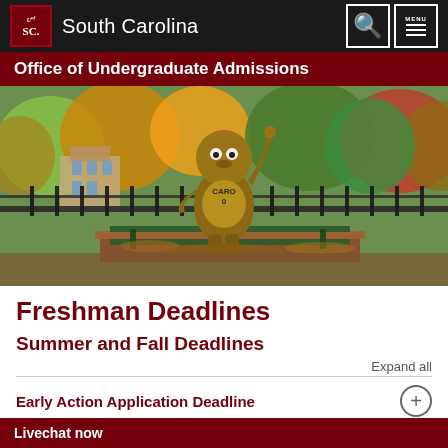South Carolina — Office of Undergraduate Admissions
[Figure (photo): Bronze statue of the University of South Carolina mascot (cocky/gamecock) seated on a bench wearing a Carolina jersey, surrounded by autumn trees and iron fence in a campus park setting.]
Freshman Deadlines
Summer and Fall Deadlines
Expand all
Early Action Application Deadline
Livechat now